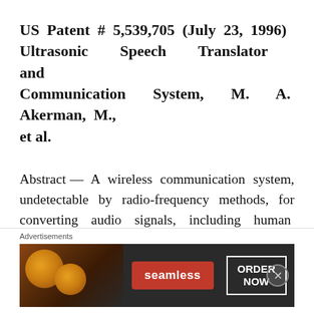US Patent # 5,539,705 (July 23, 1996) Ultrasonic Speech Translator and Communication System, M. A. Akerman, M., et al.
Abstract — A wireless communication system, undetectable by radio-frequency methods, for converting audio signals, including human voice, to electronic signals in the ultrasonic frequency range, transmitting the ultrasonic signal by way
[Figure (other): Advertisement banner for Seamless food ordering service with pizza image, red Seamless logo, and ORDER NOW button]